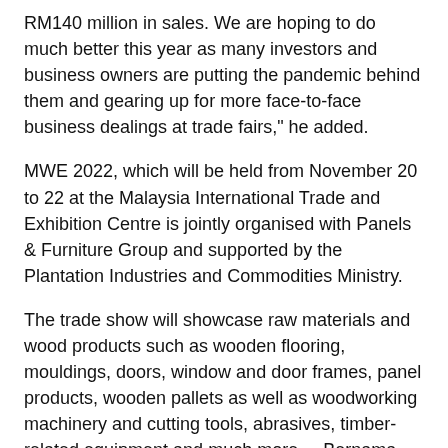RM140 million in sales. We are hoping to do much better this year as many investors and business owners are putting the pandemic behind them and gearing up for more face-to-face business dealings at trade fairs," he added.
MWE 2022, which will be held from November 20 to 22 at the Malaysia International Trade and Exhibition Centre is jointly organised with Panels & Furniture Group and supported by the Plantation Industries and Commodities Ministry.
The trade show will showcase raw materials and wood products such as wooden flooring, mouldings, doors, window and door frames, panel products, wooden pallets as well as woodworking machinery and cutting tools, abrasives, timber-related equipment and much more. – Bernama, June 20, 2022.
：Sunbet
APP　www.hg108.vip_Kelantan police seize 97,780 litres of diesel worth RM210,227
www.99cx.vip DBKL plans to increase number of